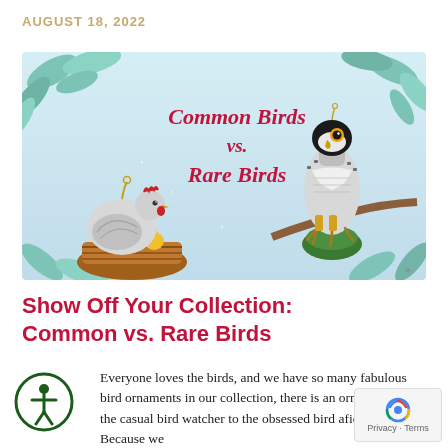AUGUST 18, 2022
[Figure (illustration): Banner image showing two glass bird ornaments — a hen in a basket on the left and a peregrine falcon on a branch on the right — against a soft blue background with teal leaves. Red italic text reads 'Common Birds vs. Rare Birds'.]
Show Off Your Collection: Common vs. Rare Birds
Everyone loves the birds, and we have so many fabulous bird ornaments in our collection, there is an ornament for the casual bird watcher to the obsessed bird aficionado. Because we